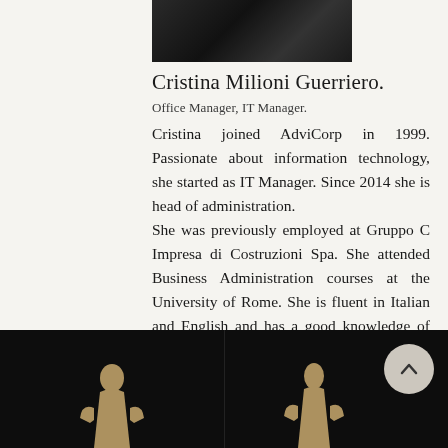[Figure (photo): Partial photo of Cristina Milioni Guerriero, dark/black background visible at top]
Cristina Milioni Guerriero.
Office Manager, IT Manager.
Cristina joined AdviCorp in 1999. Passionate about information technology, she started as IT Manager. Since 2014 she is head of administration. She was previously employed at Gruppo C Impresa di Costruzioni Spa. She attended Business Administration courses at the University of Rome. She is fluent in Italian and English and has a good knowledge of French.
[Figure (photo): Two dark images side by side at bottom showing golden silhouettes on black background; a circular scroll-up button is visible on the right panel]